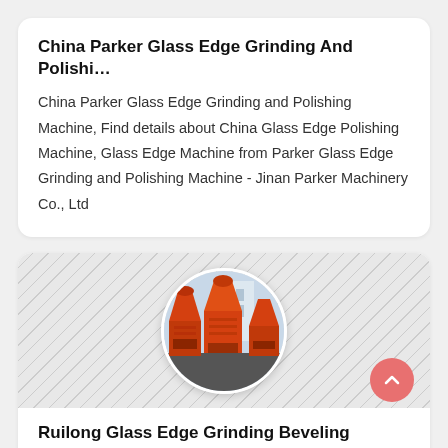China Parker Glass Edge Grinding And Polishi…
China Parker Glass Edge Grinding and Polishing Machine, Find details about China Glass Edge Polishing Machine, Glass Edge Machine from Parker Glass Edge Grinding and Polishing Machine - Jinan Parker Machinery Co., Ltd
[Figure (photo): Circular image of orange industrial grinding/cone machinery equipment against a hatched background, with a scroll-to-top button (red circle with chevron) on the right]
Ruilong Glass Edge Grinding Beveling Machin…
Ruilong main products are glass edge grinding beveling machine.R &amp; D design and production